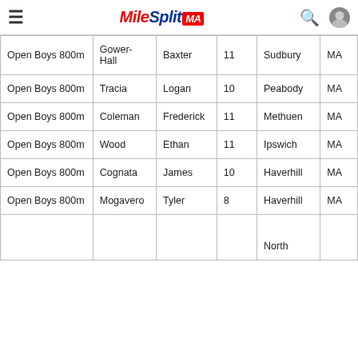MileSplit MA
| Event | Last Name | First Name | Grade | City | State |
| --- | --- | --- | --- | --- | --- |
| Open Boys 800m | Gower-Hall | Baxter | 11 | Sudbury | MA |
| Open Boys 800m | Tracia | Logan | 10 | Peabody | MA |
| Open Boys 800m | Coleman | Frederick | 11 | Methuen | MA |
| Open Boys 800m | Wood | Ethan | 11 | Ipswich | MA |
| Open Boys 800m | Cognata | James | 10 | Haverhill | MA |
| Open Boys 800m | Mogavero | Tyler | 8 | Haverhill | MA |
| Open Boys 800m |  |  |  | North |  |